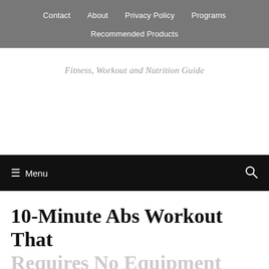Contact   About   Privacy Policy   Programs   Recommended Products
Fitness, Workout and Nutrition Guide
☰ Menu
10-Minute Abs Workout That Requires No Equipment